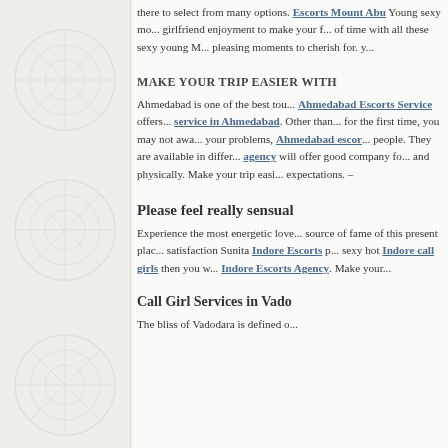there to select from many options. Escorts Mount Abu Young sexy mo... girlfriend enjoyment to make your f... of time with all these sexy young M... pleasing moments to cherish for. y...
MAKE YOUR TRIP EASIER WITH
Ahmedabad is one of the best tou... Ahmedabad Escorts Service offers... service in Ahmedabad. Other than... for the first time, you may not awa... your problems, Ahmedabad escor... people. They are available in differ... agency will offer good company fo... and physically. Make your trip easi... expectations. –
Please feel really sensual
Experience the most energetic love... source of fame of this present plac... satisfaction Sunita Indore Escorts p... sexy hot Indore call girls then you w... Indore Escorts Agency. Make your...
Call Girl Services in Vado
The bliss of Vadodara is defined o...